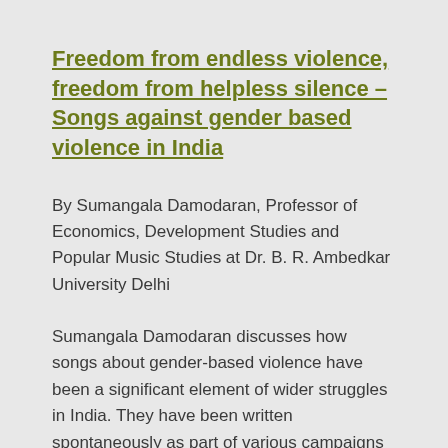Freedom from endless violence, freedom from helpless silence – Songs against gender based violence in India
By Sumangala Damodaran, Professor of Economics, Development Studies and Popular Music Studies at Dr. B. R. Ambedkar University Delhi
Sumangala Damodaran discusses how songs about gender-based violence have been a significant element of wider struggles in India. They have been written spontaneously as part of various campaigns and social and political events that brought issues to the fore, including before